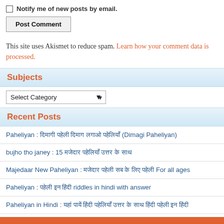Notify me of new posts by email.
Post Comment
This site uses Akismet to reduce spam. Learn how your comment data is processed.
Subjects
Select Category
Recent Posts
Paheliyan : दिमागी पहेली (Dimagi Paheliyan)
bujho tho janey : 15 मजेदार पहेलियां उत्तर के साथ
Majedaar New Paheliyan : मजेदार पहेली For all ages
Paheliyan : पहेली riddles in hindi with answer
Paheliyan in Hindi : यहां पायें हिंदी पहेलियां उत्तर के साथ